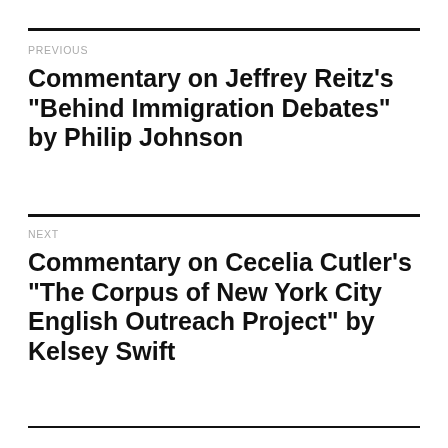PREVIOUS
Commentary on Jeffrey Reitz’s “Behind Immigration Debates” by Philip Johnson
NEXT
Commentary on Cecelia Cutler’s “The Corpus of New York City English Outreach Project” by Kelsey Swift